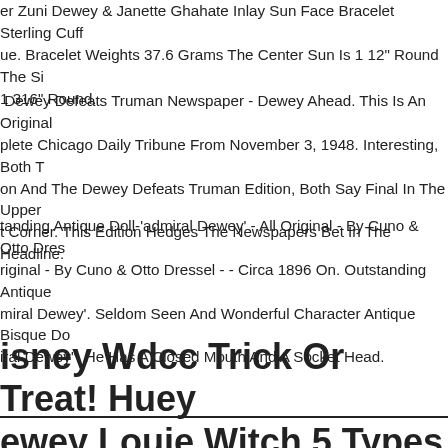er Zuni Dewey & Janette Ghahate Inlay Sun Face Bracelet Sterling Cuff ue. Bracelet Weights 37.6 Grams The Center Sun Is 1 12" Round The Si 1 316" Round.
Dewey Defeats Truman Newspaper - Dewey Ahead. This Is An Original plete Chicago Daily Tribune From November 3, 1948. Interesting, Both T on And The Dewey Defeats Truman Edition, Both Say Final In The Upper t Corner. This Edition Hedges The Newspapers Bet In The Headline.
tanding Antique Doll-'admiral Dewey' - All Original - By Cuno & Otto Dres riginal - By Cuno & Otto Dressel - - Circa 1896 On. Outstanding Antique miral Dewey'. Seldom Seen And Wonderful Character Antique Bisque Do iral Dewey". He Has A Closed Mouth And A Socket Head.
isney Wdcc Trick Or Treat! Huey ewey Louie Witch 5 Types Set